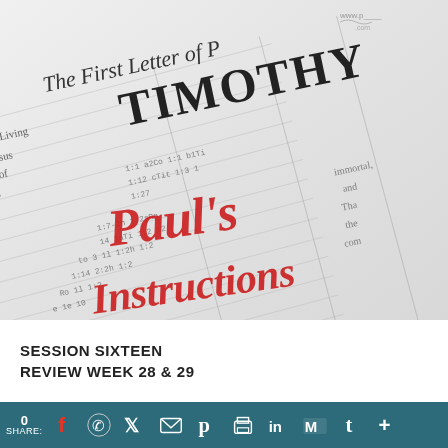[Figure (photo): Close-up photo of an open Bible showing the First Letter of Paul to Timothy, with red cursive text overlay reading "Paul's Instructions"]
SESSION SIXTEEN
REVIEW WEEK 28 & 29
0 SHARE: [facebook] [whatsapp] [twitter] [email] [pinterest] [print] [linkedin] [gmail] [tumblr] [+]